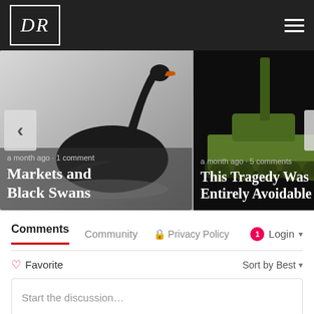DR
[Figure (photo): Black swan on water, grayscale image with carousel left arrow nav button]
a month ago · 1 comment
Markets and Black Swans
[Figure (photo): Military tank on dark background with carousel right arrow nav button]
a month ago · 5 comments
This Tragedy Was Entirely Avoidable
Comments   Community   🔒 Privacy Policy   🔴1 Login ▾
♡ Favorite
Sort by Best ▾
Start the discussion…
LOG IN WITH
[Figure (logo): Social login icons: Disqus (blue circle), Facebook (dark blue circle), Twitter (light blue circle), Google (red circle)]